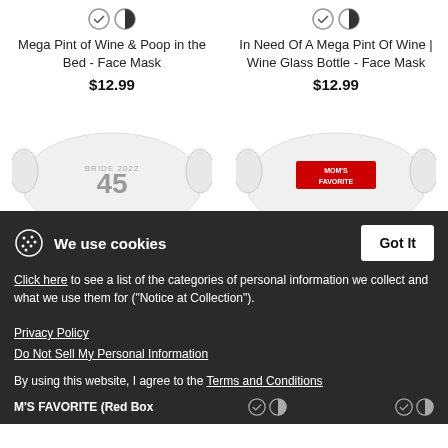[Figure (screenshot): Two product listings for face masks with color selector icons, titles, and prices]
Mega Pint of Wine & Poop in the Bed - Face Mask
$12.99
In Need Of A Mega Pint Of Wine | Wine Glass Bottle - Face Mask
$12.99
[Figure (photo): Two face masks: left with '45' text design, right with 'MOM'S FAVORITE' red label design]
We use cookies
Click here to see a list of the categories of personal information we collect and what we use them for ("Notice at Collection").
Privacy Policy
Do Not Sell My Personal Information
By using this website, I agree to the Terms and Conditions MOM'S FAVORITE (Red Box